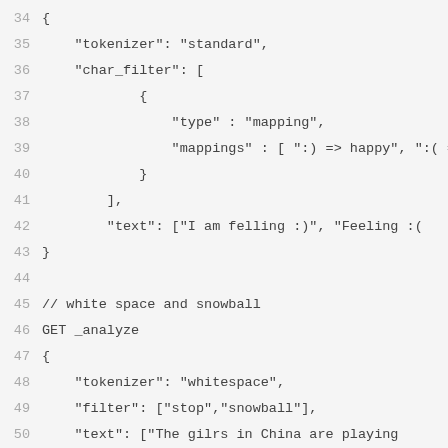34  {
35      "tokenizer": "standard",
36      "char_filter": [
37              {
38                  "type" : "mapping",
39                  "mappings" : [ ":) => happy", ":( =
40              }
41          ],
42          "text": ["I am felling :)", "Feeling :(
43  }
44
45  // white space and snowball
46  GET _analyze
47  {
48      "tokenizer": "whitespace",
49      "filter": ["stop","snowball"],
50      "text": ["The gilrs in China are playing
51  }
52
53